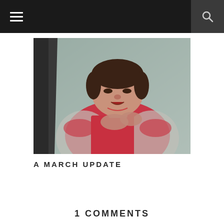Navigation bar with menu and search buttons
[Figure (photo): Woman in a pink/grey raglan shirt speaking or talking, seated in front of a light green/teal wall with a dark door frame visible on the left side of the frame. The image appears to be a video thumbnail screenshot.]
A MARCH UPDATE
1 COMMENTS